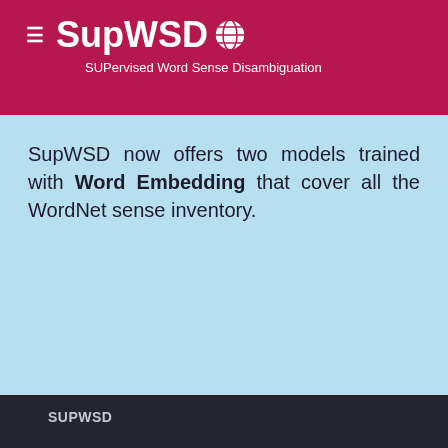SupWSD 🌐 SUPervised Word Sense Disambiguation
SupWSD now offers two models trained with Word Embedding that cover all the WordNet sense inventory.
SUPWSD
Toolkit Framework
API
Pocket Edition
Downloads
WorldWide